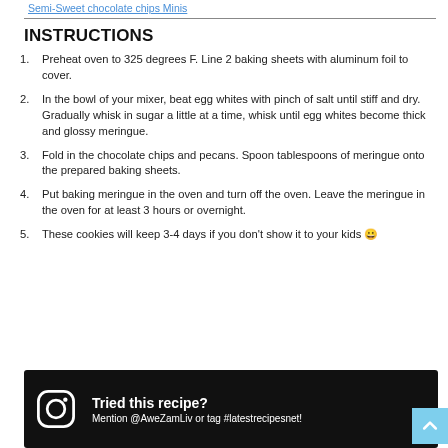Semi-Sweet chocolate chips Minis
INSTRUCTIONS
Preheat oven to 325 degrees F. Line 2 baking sheets with aluminum foil to cover.
In the bowl of your mixer, beat egg whites with pinch of salt until stiff and dry. Gradually whisk in sugar a little at a time, whisk until egg whites become thick and glossy meringue.
Fold in the chocolate chips and pecans. Spoon tablespoons of meringue onto the prepared baking sheets.
Put baking meringue in the oven and turn off the oven. Leave the meringue in the oven for at least 3 hours or overnight.
These cookies will keep 3-4 days if you don't show it to your kids 😀
Tried this recipe? Mention @AweZamLiv or tag #latestrecipesnet!